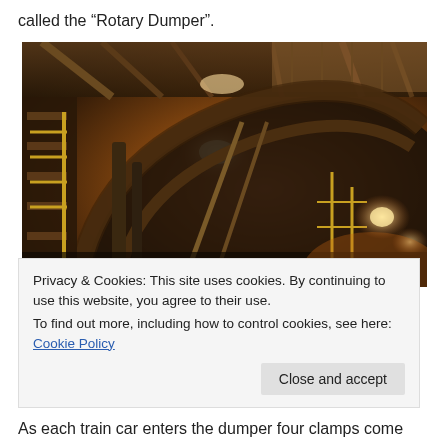called the “Rotary Dumper”.
[Figure (photo): Interior industrial photograph of a rotary dumper facility, showing large curved metal machinery and structural steel framework inside a warehouse-like building with orange/warm lighting.]
Privacy & Cookies: This site uses cookies. By continuing to use this website, you agree to their use.
To find out more, including how to control cookies, see here: Cookie Policy
As each train car enters the dumper four clamps come